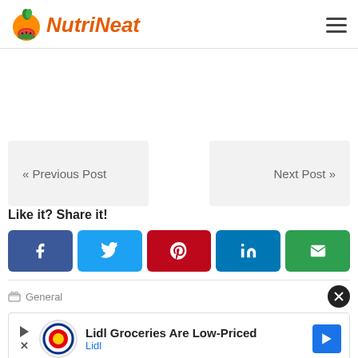NutriNeat
« Previous Post
Next Post »
Like it? Share it!
[Figure (other): Social share buttons: Facebook, Twitter, Pinterest, LinkedIn, Email]
General
[Figure (other): Advertisement banner: Lidl Groceries Are Low-Priced - Lidl]